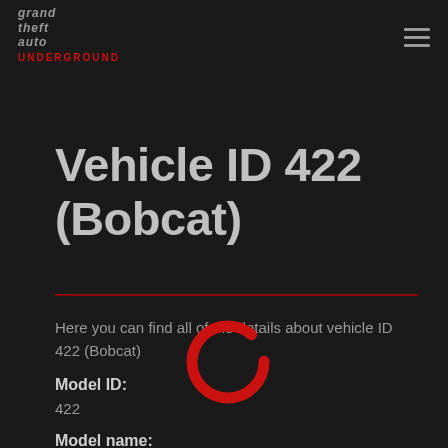Grand Theft Auto Underground (logo) + hamburger menu
Vehicle ID 422 (Bobcat)
Here you can find all of the details about vehicle ID 422 (Bobcat)
[Figure (other): Red circular loading/spinner ring icon]
Model ID:
422
Model name: